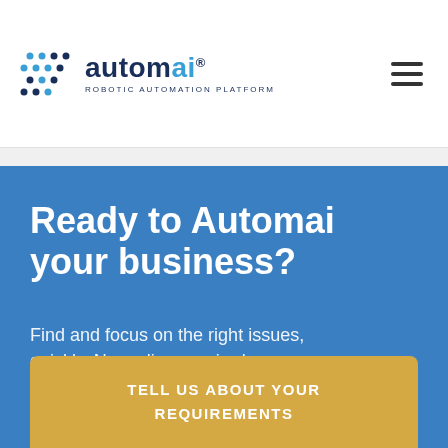[Figure (logo): Automai logo with blue hexagonal dot-grid icon and text 'automai® ROBOTIC AUTOMATION PLATFORM']
Ready to Automai your business?
Find and focus on the right issues, quickly. No coding required.
TELL US ABOUT YOUR REQUIREMENTS